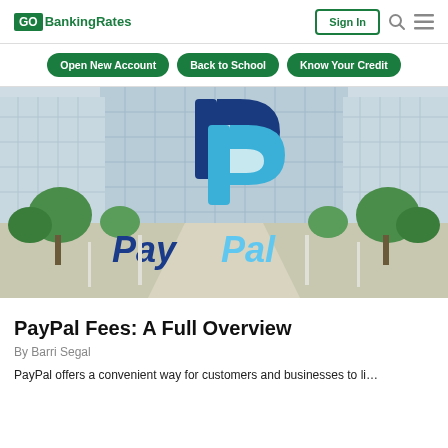GOBankingRates | Sign In
[Figure (other): Navigation buttons: Open New Account, Back to School, Know Your Credit]
[Figure (photo): PayPal corporate headquarters building with large PayPal logo and letter P symbol on glass facade, surrounded by trees]
PayPal Fees: A Full Overview
By Barri Segal
PayPal offers a convenient way for customers and businesses to li...